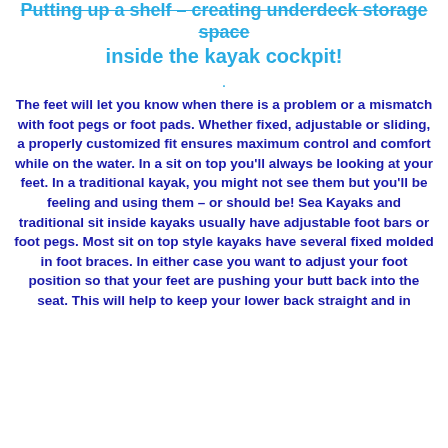Putting up a shelf – creating underdeck storage space inside the kayak cockpit!
The feet will let you know when there is a problem or a mismatch with foot pegs or foot pads. Whether fixed, adjustable or sliding, a properly customized fit ensures maximum control and comfort while on the water. In a sit on top you'll always be looking at your feet. In a traditional kayak, you might not see them but you'll be feeling and using them – or should be! Sea Kayaks and traditional sit inside kayaks usually have adjustable foot bars or foot pegs. Most sit on top style kayaks have several fixed molded in foot braces. In either case you want to adjust your foot position so that your feet are pushing your butt back into the seat. This will help to keep your lower back straight and in